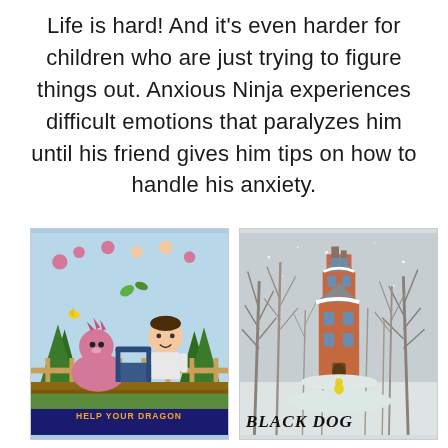Life is hard! And it's even harder for children who are just trying to figure things out. Anxious Ninja experiences difficult emotions that paralyzes him until his friend gives him tips on how to handle his anxiety.
[Figure (illustration): Book cover for 'Help Your Dragon' featuring cartoon illustrations of a boy and a pink dragon on a porch with various dragon characters in the background.]
[Figure (illustration): Book cover for 'Black Dog' featuring a watercolor painting of a tall pink house in a snowy winter forest with a small yellow figure near the base.]